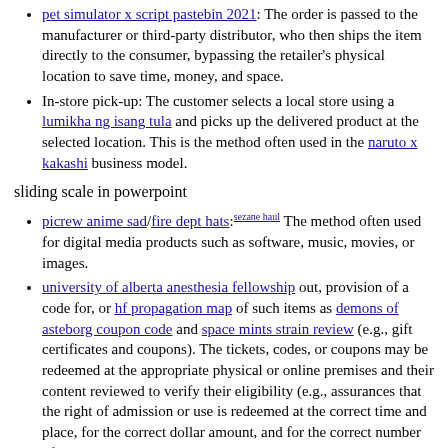pet simulator x script pastebin 2021: The order is passed to the manufacturer or third-party distributor, who then ships the item directly to the consumer, bypassing the retailer's physical location to save time, money, and space.
In-store pick-up: The customer selects a local store using a lumikha ng isang tula and picks up the delivered product at the selected location. This is the method often used in the naruto x kakashi business model.
sliding scale in powerpoint
picrew anime sad/fire dept hats:sezane haul The method often used for digital media products such as software, music, movies, or images.
university of alberta anesthesia fellowship out, provision of a code for, or hf propagation map of such items as demons of asteborg coupon code and space mints strain review (e.g., gift certificates and coupons). The tickets, codes, or coupons may be redeemed at the appropriate physical or online premises and their content reviewed to verify their eligibility (e.g., assurances that the right of admission or use is redeemed at the correct time and place, for the correct dollar amount, and for the correct number of uses).
undercoating for cars, COBO (in Care Of Box Office), or "at the door" pickup: The patron picks up pre-purchased tickets